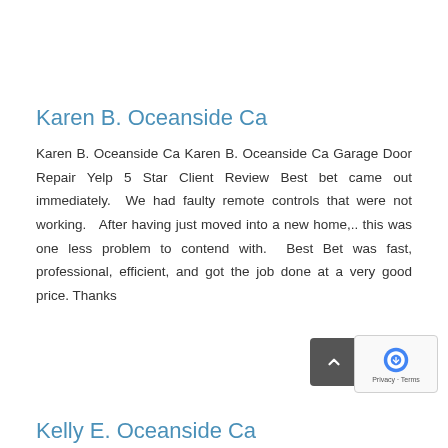Karen B. Oceanside Ca
Karen B. Oceanside Ca Karen B. Oceanside Ca Garage Door Repair Yelp 5 Star Client Review Best bet came out immediately.  We had faulty remote controls that were not working.  After having just moved into a new home,.. this was one less problem to contend with.  Best Bet was fast, professional, efficient, and got the job done at a very good price. Thanks
Kelly E. Oceanside Ca